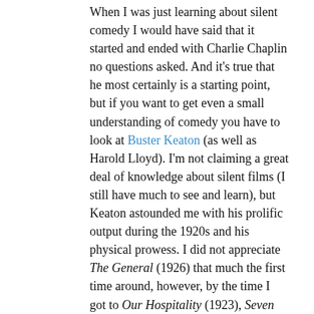When I was just learning about silent comedy I would have said that it started and ended with Charlie Chaplin no questions asked. And it's true that he most certainly is a starting point, but if you want to get even a small understanding of comedy you have to look at Buster Keaton (as well as Harold Lloyd). I'm not claiming a great deal of knowledge about silent films (I still have much to see and learn), but Keaton astounded me with his prolific output during the 1920s and his physical prowess. I did not appreciate The General (1926) that much the first time around, however, by the time I got to Our Hospitality (1923), Seven Chances (1925), Steamboat Bill Jr. (1928), The Cameraman (1928), The Navigator (1924), and of course this film, I completely changed my initial evaluation.
Since Sherlock Jr. is shorter than most of his other features it's almost like Keaton cut out all the dross and what we are left with are sequences of cinematic gold. In this story about a projectionist obsessed with being a detective, there is surprising depth and inventiveness that is still magical today. The plot really is a film within a film